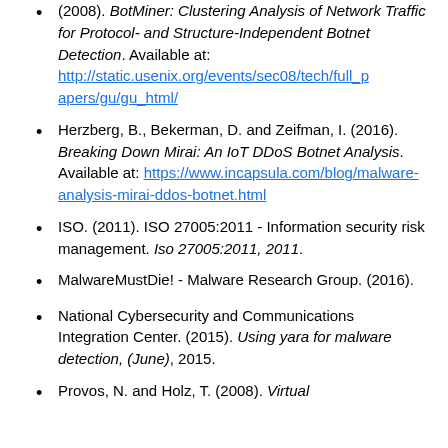(2008). BotMiner: Clustering Analysis of Network Traffic for Protocol- and Structure-Independent Botnet Detection. Available at: http://static.usenix.org/events/sec08/tech/full_papers/gu/gu_html/
Herzberg, B., Bekerman, D. and Zeifman, I. (2016). Breaking Down Mirai: An IoT DDoS Botnet Analysis. Available at: https://www.incapsula.com/blog/malware-analysis-mirai-ddos-botnet.html
ISO. (2011). ISO 27005:2011 - Information security risk management. Iso 27005:2011, 2011.
MalwareMustDie! - Malware Research Group. (2016).
National Cybersecurity and Communications Integration Center. (2015). Using yara for malware detection, (June), 2015.
Provos, N. and Holz, T. (2008). Virtual